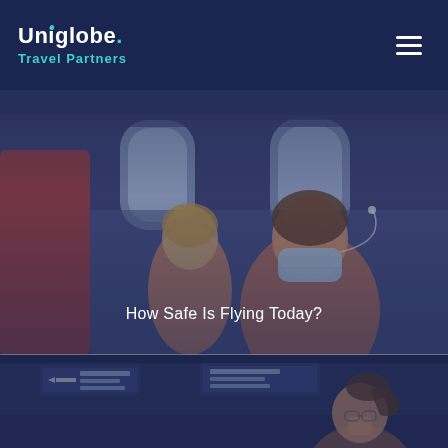[Figure (logo): Uniglobe Travel Partners logo — white 'Uniglobe.' text with teal dot above the i, and teal 'Travel Partners' subtitle, on dark navy background]
[Figure (photo): Woman wearing a face mask and earbuds seated in an airplane, with another passenger visible in the background near a window. Dark blue overlay tint.]
How Safe Is Flying Today?
[Figure (photo): Airport terminal scene with directional signs and a young woman visible from the shoulders up, dark blue overlay tint.]